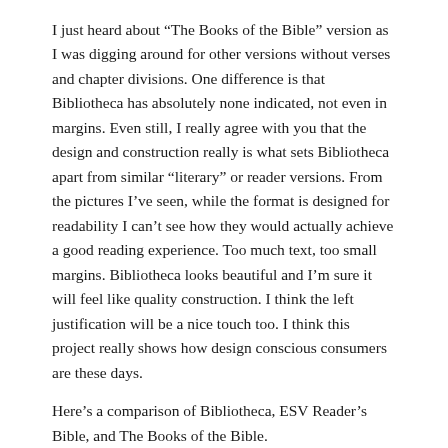I just heard about “The Books of the Bible” version as I was digging around for other versions without verses and chapter divisions. One difference is that Bibliotheca has absolutely none indicated, not even in margins. Even still, I really agree with you that the design and construction really is what sets Bibliotheca apart from similar “literary” or reader versions. From the pictures I’ve seen, while the format is designed for readability I can’t see how they would actually achieve a good reading experience. Too much text, too small margins. Bibliotheca looks beautiful and I’m sure it will feel like quality construction. I think the left justification will be a nice touch too. I think this project really shows how design conscious consumers are these days.
Here’s a comparison of Bibliotheca, ESV Reader’s Bible, and The Books of the Bible.
http://understandingbooksbible.wordpress.com/2014/07/17/feature-by-feature-comparison-of-the-esv-readers-bible-bibliotheca-and-the-books-of-the-bible/
I wonder why “The Books of the Bible” would be a better...